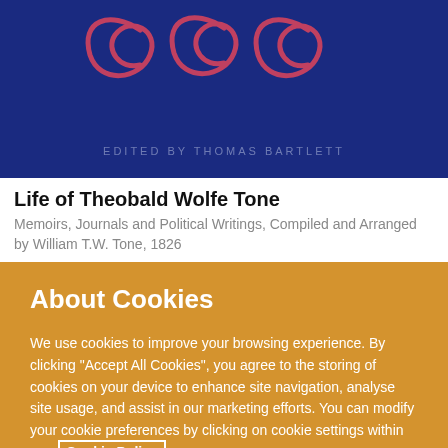[Figure (illustration): Book cover with dark navy blue background, decorative swirl/loop design in pink/red at top, and text 'EDITED BY THOMAS BARTLETT' in faded text near bottom]
Life of Theobald Wolfe Tone
Memoirs, Journals and Political Writings, Compiled and Arranged by William T.W. Tone, 1826
About Cookies
We use cookies to improve your browsing experience. By clicking “Accept All Cookies”, you agree to the storing of cookies on your device to enhance site navigation, analyse site usage, and assist in our marketing efforts. You can modify your cookie preferences by clicking on cookie settings within our  Cookie Policy
Cookie Settings
Accept All Cookies